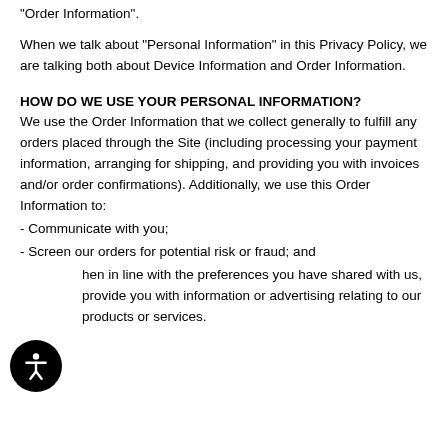“Order Information”.
When we talk about “Personal Information” in this Privacy Policy, we are talking both about Device Information and Order Information.
HOW DO WE USE YOUR PERSONAL INFORMATION?
We use the Order Information that we collect generally to fulfill any orders placed through the Site (including processing your payment information, arranging for shipping, and providing you with invoices and/or order confirmations). Additionally, we use this Order Information to:
- Communicate with you;
- Screen our orders for potential risk or fraud; and
- When in line with the preferences you have shared with us, provide you with information or advertising relating to our products or services.